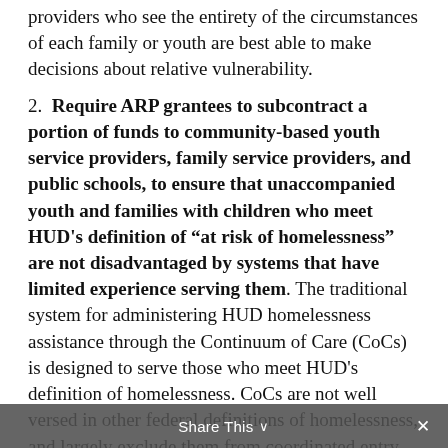providers who see the entirety of the circumstances of each family or youth are best able to make decisions about relative vulnerability.
2. Require ARP grantees to subcontract a portion of funds to community-based youth service providers, family service providers, and public schools, to ensure that unaccompanied youth and families with children who meet HUD's definition of "at risk of homelessness" are not disadvantaged by systems that have limited experience serving them. The traditional system for administering HUD homelessness assistance through the Continuum of Care (CoCs) is designed to serve those who meet HUD's definition of homelessness. CoCs are not well versed in other federal definitions of homelessness, and largely exclude them from coordinated entry intake systems. To guarantee that youth and families have full access to ARP